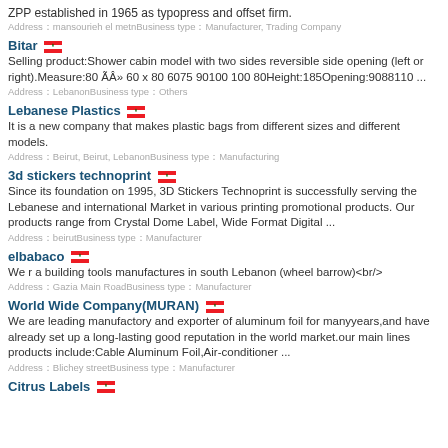ZPP established in 1965 as typopress and offset firm.
Address：mansourieh el metnBusiness type：Manufacturer, Trading Company
Bitar 🇱🇧
Selling product:Shower cabin model with two sides reversible side opening (left or right).Measure:80 &Atilde;&Acirc;&raquo; 60 x 80 6075 90100 100 80Height:185Opening:9088110 ...
Address：LebanonBusiness type：Others
Lebanese Plastics 🇱🇧
It is a new company that makes plastic bags from different sizes and different models.
Address：Beirut, Beirut, LebanonBusiness type：Manufacturing
3d stickers technoprint 🇱🇧
Since its foundation on 1995, 3D Stickers Technoprint is successfully serving the Lebanese and international Market in various printing promotional products. Our products range from Crystal Dome Label, Wide Format Digital ...
Address：beirutBusiness type：Manufacturer
elbabaco 🇱🇧
We r a building tools manufactures in south Lebanon (wheel barrow)<br/>
Address：Gazia Main RoadBusiness type：Manufacturer
World Wide Company(MURAN) 🇱🇧
We are leading manufactory and exporter of aluminum foil for manyyears,and have already set up a long-lasting good reputation in the world market.our main lines products include:Cable Aluminum Foil,Air-conditioner ...
Address：Blichey streetBusiness type：Manufacturer
Citrus Labels 🇱🇧